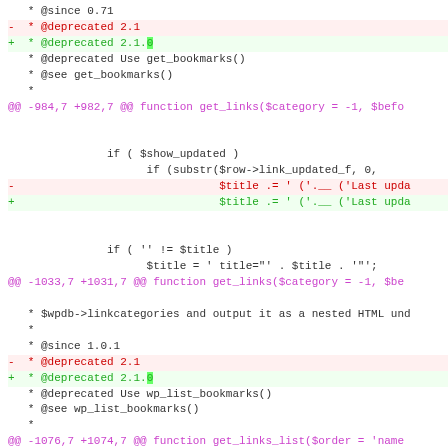[Figure (screenshot): Code diff view showing changes to PHP deprecated annotations and get_links/get_links_list functions in a WordPress file. Lines show @since, @deprecated version changes from 2.1 to 2.1.0, and function signatures.]